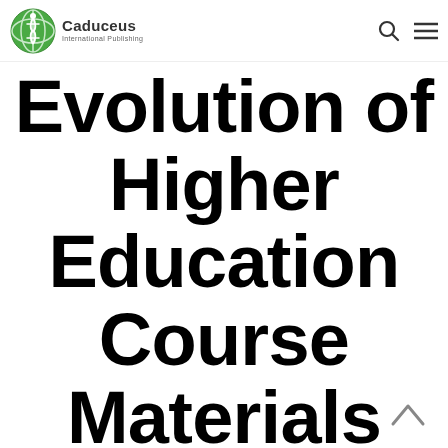Caduceus International Publishing
Evolution of Higher Education Course Materials